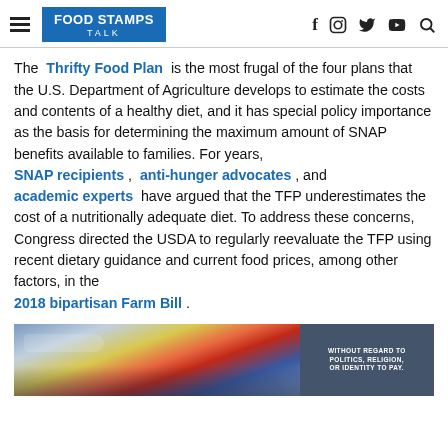FOOD STAMPS TALK
The Thrifty Food Plan is the most frugal of the four plans that the U.S. Department of Agriculture develops to estimate the costs and contents of a healthy diet, and it has special policy importance as the basis for determining the maximum amount of SNAP benefits available to families. For years, SNAP recipients , anti-hunger advocates , and academic experts have argued that the TFP underestimates the cost of a nutritionally adequate diet. To address these concerns, Congress directed the USDA to regularly reevaluate the TFP using recent dietary guidance and current food prices, among other factors, in the 2018 bipartisan Farm Bill .
[Figure (photo): Advertisement banner showing a Southwest Airlines plane being loaded with cargo. An overlay on the right reads WITHOUT REGARD TO POLITICS, RELIGION, OR IDENTITY TO PAY.]